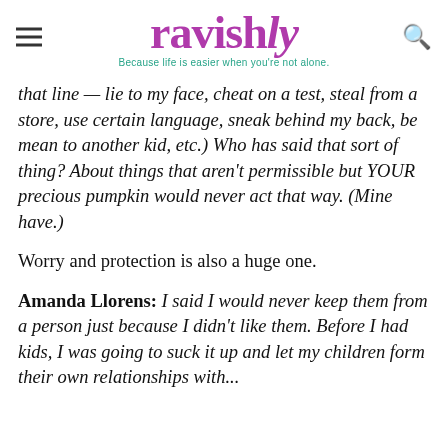ravishly — Because life is easier when you're not alone.
that line — lie to my face, cheat on a test, steal from a store, use certain language, sneak behind my back, be mean to another kid, etc.) Who has said that sort of thing? About things that aren't permissible but YOUR precious pumpkin would never act that way. (Mine have.)
Worry and protection is also a huge one.
Amanda Llorens: I said I would never keep them from a person just because I didn't like them. Before I had kids, I was going to suck it up and let my children form their own relationships with...